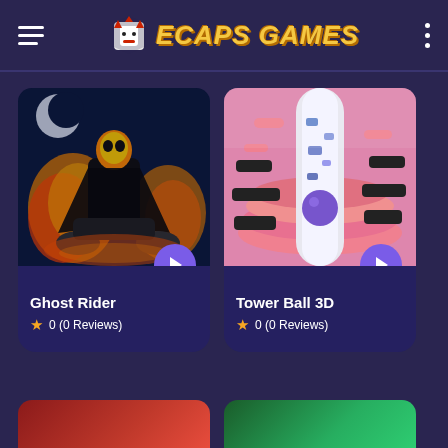ECAPS GAMES
[Figure (screenshot): Ghost Rider game thumbnail showing a flaming skull character on a motorcycle with fire effects at night]
Ghost Rider
0 (0 Reviews)
[Figure (screenshot): Tower Ball 3D game thumbnail showing a purple ball descending a pink spiral tower with black obstacles]
Tower Ball 3D
0 (0 Reviews)